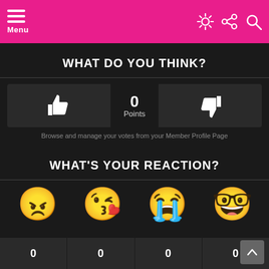Menu
WHAT DO YOU THINK?
[Figure (infographic): Thumbs up button on the left, 0 Points in center, thumbs down button on the right]
Browse and manage your votes from your Member Profile Page
WHAT'S YOUR REACTION?
[Figure (infographic): Four emoji reaction icons: angry face, kissing face with heart, loudly crying face, nerd face with glasses]
0 0 0 0